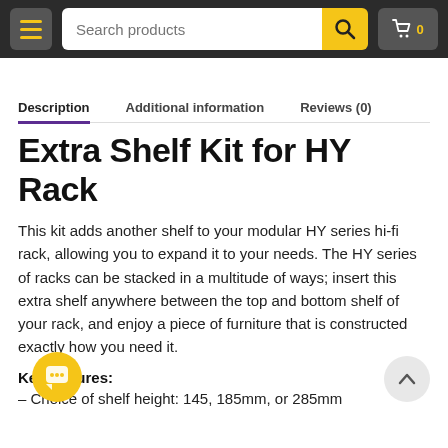Search products | cart 0
Description | Additional information | Reviews (0)
Extra Shelf Kit for HY Rack
This kit adds another shelf to your modular HY series hi-fi rack, allowing you to expand it to your needs. The HY series of racks can be stacked in a multitude of ways; insert this extra shelf anywhere between the top and bottom shelf of your rack, and enjoy a piece of furniture that is constructed exactly how you need it.
Key features:
– Choice of shelf height: 145, 185mm, or 285mm